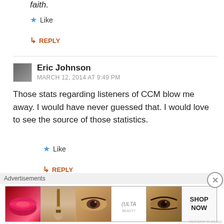faith.
★ Like
↳ REPLY
Eric Johnson
MARCH 12, 2014 AT 9:49 PM
Those stats regarding listeners of CCM blow me away. I would have never guessed that. I would love to see the source of those statistics.
★ Like
↳ REPLY
[Figure (infographic): Ulta Beauty advertisement banner with makeup images: lips, brush, eye, Ulta logo, eye closeup, and SHOP NOW button]